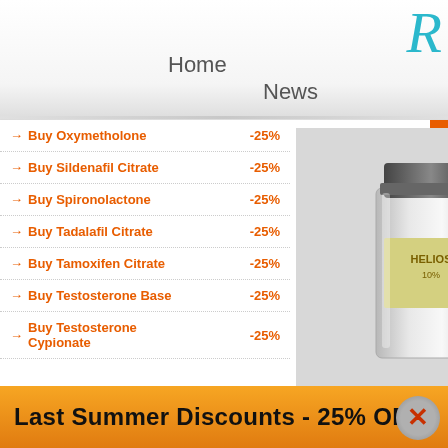R
Home
News
→ Buy Oxymetholone -25%
→ Buy Sildenafil Citrate -25%
→ Buy Spironolactone -25%
→ Buy Tadalafil Citrate -25%
→ Buy Tamoxifen Citrate -25%
→ Buy Testosterone Base -25%
→ Buy Testosterone Cypionate -25%
[Figure (photo): Vial of Helios injectable drug product, glass bottle with yellow label]
33.75 USD
45.00 USD
Helio
Drug C
Brand
Routes
Pharm
- Clenb
- Yohin
Overal
Manuf
Quant
Last Summer Discounts - 25% OFF